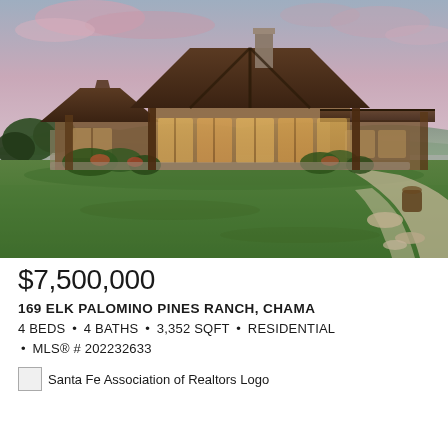[Figure (photo): Exterior photo of a large ranch-style home with wood and stone construction, large glass windows, illuminated at dusk/sunset with a green lawn in the foreground and mountains in the background]
$7,500,000
169 ELK PALOMINO PINES RANCH, CHAMA
4 BEDS • 4 BATHS • 3,352 SQFT • RESIDENTIAL • MLS® # 202232633
[Figure (logo): Santa Fe Association of Realtors Logo]